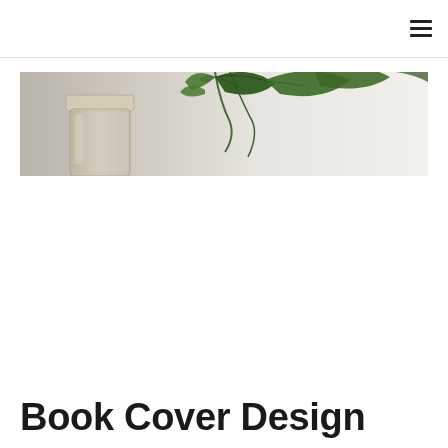≡
[Figure (photo): A glass jar with a metal lid and green ivy leaves in the background, photographed against a light background]
Book Cover Design